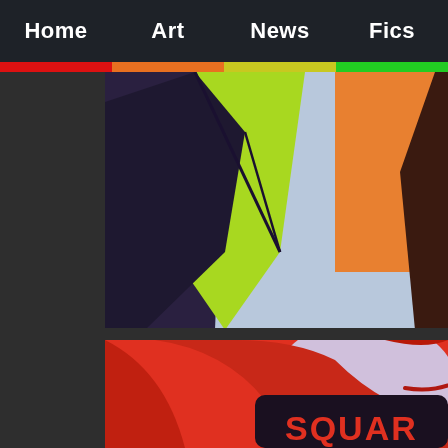Home | Art | News | Fics
[Figure (illustration): Cropped cartoon/comic illustration showing characters with lime green, dark purple/navy, light blue, orange color areas — partial view of animated characters]
[Figure (illustration): Cropped cartoon/comic illustration with large red character/creature, lavender background, dark shape with partial text 'SQUARE' in red letters]